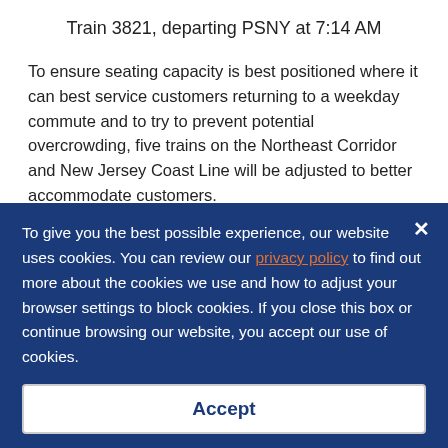Train 3821, departing PSNY at 7:14 AM
To ensure seating capacity is best positioned where it can best service customers returning to a weekday commute and to try to prevent potential overcrowding, five trains on the Northeast Corridor and New Jersey Coast Line will be adjusted to better accommodate customers.
To give you the best possible experience, our website uses cookies. You can review our privacy policy to find out more about the cookies we use and how to adjust your browser settings to block cookies. If you close this box or continue browsing our website, you accept our use of cookies.
Accept